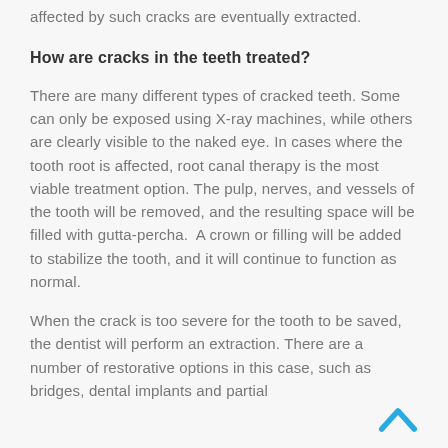affected by such cracks are eventually extracted.
How are cracks in the teeth treated?
There are many different types of cracked teeth. Some can only be exposed using X-ray machines, while others are clearly visible to the naked eye. In cases where the tooth root is affected, root canal therapy is the most viable treatment option. The pulp, nerves, and vessels of the tooth will be removed, and the resulting space will be filled with gutta-percha.  A crown or filling will be added to stabilize the tooth, and it will continue to function as normal.
When the crack is too severe for the tooth to be saved, the dentist will perform an extraction. There are a number of restorative options in this case, such as bridges, dental implants and partial dentures. All of the restorative options are quite bit...